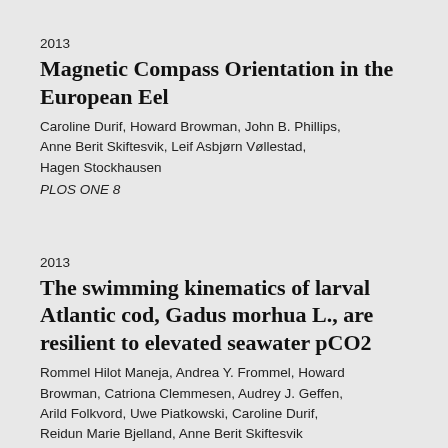2013
Magnetic Compass Orientation in the European Eel
Caroline Durif, Howard Browman, John B. Phillips, Anne Berit Skiftesvik, Leif Asbjørn Vøllestad, Hagen Stockhausen
PLOS ONE 8
2013
The swimming kinematics of larval Atlantic cod, Gadus morhua L., are resilient to elevated seawater pCO2
Rommel Hilot Maneja, Andrea Y. Frommel, Howard Browman, Catriona Clemmesen, Audrey J. Geffen, Arild Folkvord, Uwe Piatkowski, Caroline Durif, Reidun Marie Bjelland, Anne Berit Skiftesvik
Marine Biology